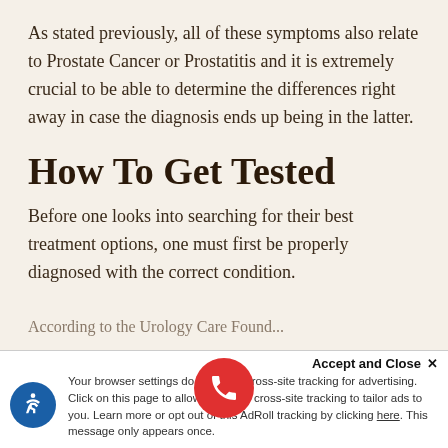As stated previously, all of these symptoms also relate to Prostate Cancer or Prostatitis and it is extremely crucial to be able to determine the differences right away in case the diagnosis ends up being in the latter.
How To Get Tested
Before one looks into searching for their best treatment options, one must first be properly diagnosed with the correct condition.
According to the Urology Care Found...
Your browser settings do not allow cross-site tracking for advertising. Click on this page to allow us to use cross-site tracking to tailor ads to you. Learn more or opt out of this AdRoll tracking by clicking here. This message only appears once.